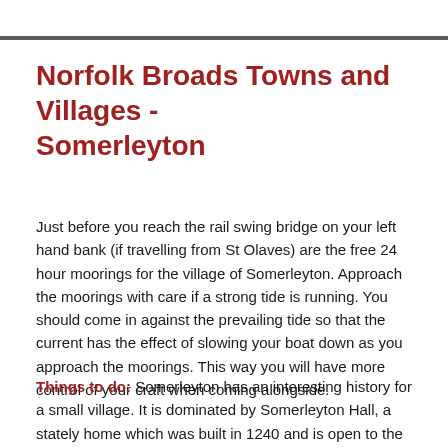Norfolk Broads Towns and Villages - Somerleyton
Just before you reach the rail swing bridge on your left hand bank (if travelling from St Olaves) are the free 24 hour moorings for the village of Somerleyton. Approach the moorings with care if a strong tide is running. You should come in against the prevailing tide so that the current has the effect of slowing your boat down as you approach the moorings. This way you will have more control of your craft when coming alongside.
Things to do: Somerleyton has an interesting history for a small village. It is dominated by Somerleyton Hall, a stately home which was built in 1240 and is open to the public. The grounds house the